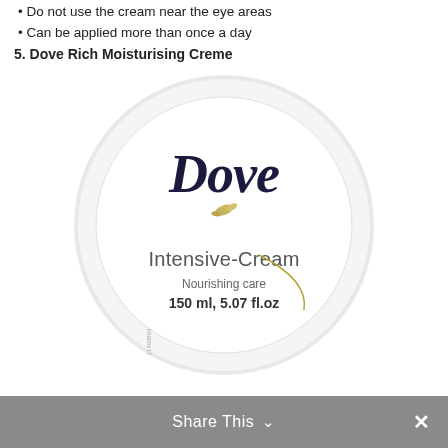Do not use the cream near the eye areas
Can be applied more than once a day
5. Dove Rich Moisturising Creme
[Figure (photo): Top-down view of a Dove Intensive-Cream jar lid, white circular container with 'Dove' in dark script, a small dove bird logo in gold/yellow, 'Intensive-Cream' in grey, 'Nourishing care' and '150 ml, 5.07 fl.oz' text, with a curved gold decorative line.]
Share This  ×